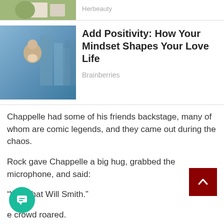[Figure (photo): Partial view of a top article card with a thumbnail image (outdoor scene with people), source: Herbeauty]
Herbeauty
[Figure (photo): Article card image showing a person holding a baby with city buildings in the background]
Add Positivity: How Your Mindset Shapes Your Love Life
Brainberries
Chappelle had some of his friends backstage, many of whom are comic legends, and they came out during the chaos.
Rock gave Chappelle a big hug, grabbed the microphone, and said:
“Was that Will Smith.”
e crowd roared.